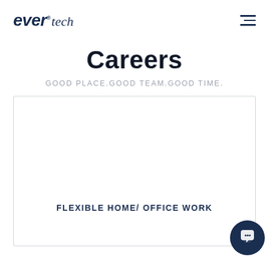ever® tech
Careers
GOOD PLACE.GOOD TEAM.GOOD TIME.
FLEXIBLE HOME/ OFFICE WORK
[Figure (illustration): Dark blue circular chat button icon in bottom right corner of card]